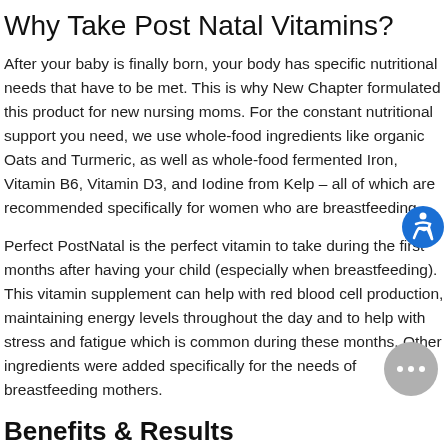Why Take Post Natal Vitamins?
After your baby is finally born, your body has specific nutritional needs that have to be met. This is why New Chapter formulated this product for new nursing moms. For the constant nutritional support you need, we use whole-food ingredients like organic Oats and Turmeric, as well as whole-food fermented Iron, Vitamin B6, Vitamin D3, and Iodine from Kelp – all of which are recommended specifically for women who are breastfeeding.
Perfect PostNatal is the perfect vitamin to take during the first months after having your child (especially when breastfeeding). This vitamin supplement can help with red blood cell production, maintaining energy levels throughout the day and to help with stress and fatigue which is common during these months. Other ingredients were added specifically for the needs of breastfeeding mothers.
Benefits & Results